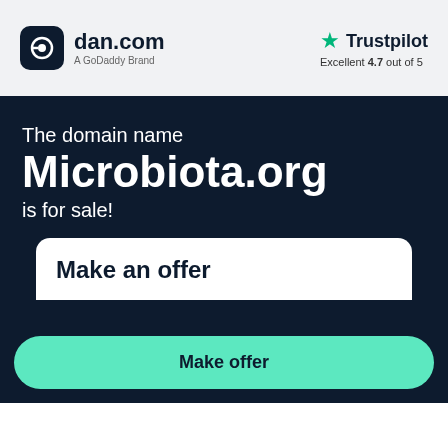[Figure (logo): dan.com logo with dark rounded square icon and text 'dan.com' with subtitle 'A GoDaddy Brand']
[Figure (logo): Trustpilot logo with green star and text 'Trustpilot', rating 'Excellent 4.7 out of 5']
The domain name
Microbiota.org
is for sale!
Make an offer
Make offer